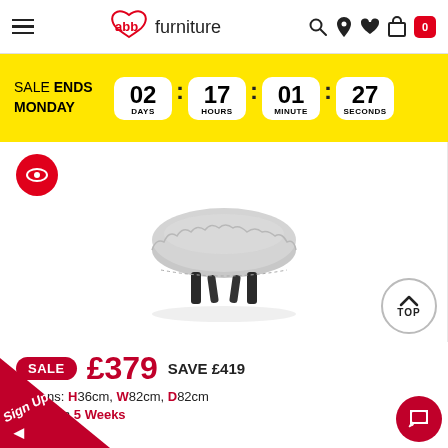ABB Furniture - navigation header with logo, hamburger menu, search, location, wishlist, bag icons and cart showing 0
SALE ENDS MONDAY  02 DAYS : 17 HOURS : 01 MINUTE : 27 SECONDS
[Figure (photo): Round grey fluffy footstool/ottoman on small black legs, product shot on white background with red eye/view icon in top left]
SALE £379 SAVE £419
Dimensions: H36cm, W82cm, D82cm
Delivery from 5 Weeks